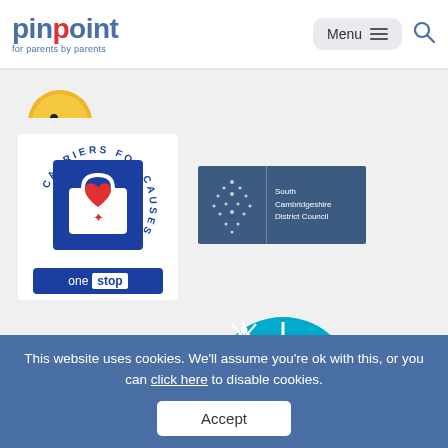[Figure (logo): Pinpoint logo - 'for parents by parents' with red dot on the i]
[Figure (logo): Partial circular yellow smiley/character logo at top]
[Figure (logo): Carriers for Causes - One Stop shopping bag charity logo in blue/red/white]
[Figure (logo): South Cambridgeshire District Council logo on dark blue background]
[Figure (logo): Co-op logo in teal/cyan blue]
[Figure (logo): Circular blue logo with wind turbine, tractor, church and water symbols]
This website uses cookies. We'll assume you're ok with this, or you can click here to disable cookies.
Accept